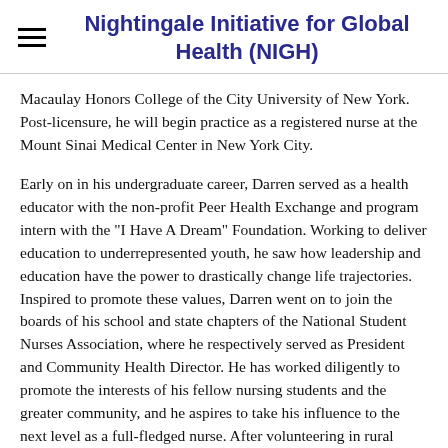Nightingale Initiative for Global Health (NIGH)
Macaulay Honors College of the City University of New York. Post-licensure, he will begin practice as a registered nurse at the Mount Sinai Medical Center in New York City.
Early on in his undergraduate career, Darren served as a health educator with the non-profit Peer Health Exchange and program intern with the "I Have A Dream" Foundation. Working to deliver education to underrepresented youth, he saw how leadership and education have the power to drastically change life trajectories. Inspired to promote these values, Darren went on to join the boards of his school and state chapters of the National Student Nurses Association, where he respectively served as President and Community Health Director. He has worked diligently to promote the interests of his fellow nursing students and the greater community, and he aspires to take his influence to the next level as a full-fledged nurse. After volunteering in rural medical clinics in Guatemala, Darren began to adopt a more